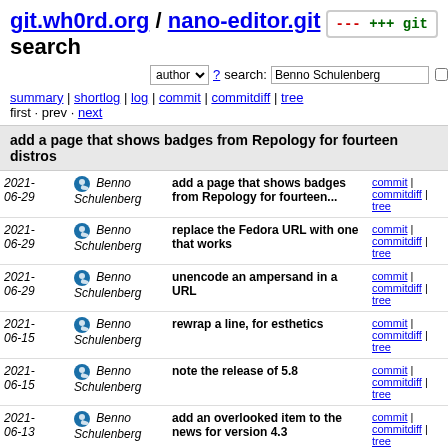git.wh0rd.org / nano-editor.git / search
author ? search: Benno Schulenberg re
summary | shortlog | log | commit | commitdiff | tree
first · prev · next
add a page that shows badges from Repology for fourteen distros
| Date | Author | Message | Links |
| --- | --- | --- | --- |
| 2021-06-29 | Benno Schulenberg | add a page that shows badges from Repology for fourteen... | commit | commitdiff | tree |
| 2021-06-29 | Benno Schulenberg | replace the Fedora URL with one that works | commit | commitdiff | tree |
| 2021-06-29 | Benno Schulenberg | unencode an ampersand in a URL | commit | commitdiff | tree |
| 2021-06-15 | Benno Schulenberg | rewrap a line, for esthetics | commit | commitdiff | tree |
| 2021-06-15 | Benno Schulenberg | note the release of 5.8 | commit | commitdiff | tree |
| 2021-06-13 | Benno Schulenberg | add an overlooked item to the news for version 4.3 | commit | commitdiff | tree |
| 2021-06-08 | Benno Schulenberg | add a link in the docs section to the manual as PDF | commit | commitdiff | tree |
| 2021-05-20 | Benno Schulenberg | add a required alt attribute to an image | commit | commitdiff | tree |